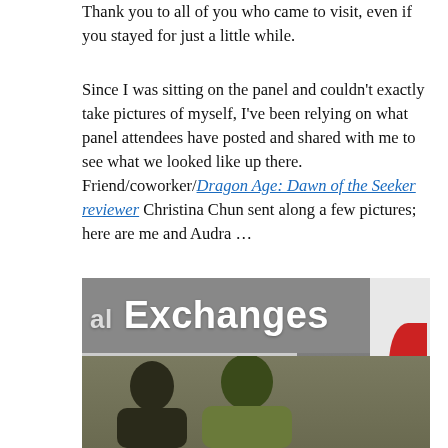Thank you to all of you who came to visit, even if you stayed for just a little while.
Since I was sitting on the panel and couldn’t exactly take pictures of myself, I’ve been relying on what panel attendees have posted and shared with me to see what we looked like up there. Friend/coworker/Dragon Age: Dawn of the Seeker reviewer Christina Chun sent along a few pictures; here are me and Audra …
[Figure (photo): Photograph of two people in front of a banner reading 'al Exchanges' (partial) with Japanese characters below. A Japanese flag is visible on the right. Two people are visible, one wearing glasses and a green top, laughing.]